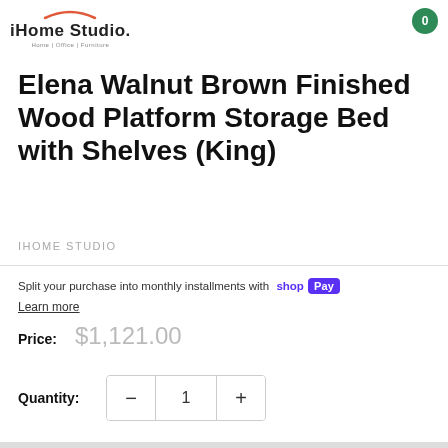[Figure (logo): iHome Studio logo with orange arc above text and subtitle 'Home | Office | Furniture']
Elena Walnut Brown Finished Wood Platform Storage Bed with Shelves (King)
IHOME STUDIO
Split your purchase into monthly installments with shop Pay
Learn more
Price: $1,121.00
Quantity: 1